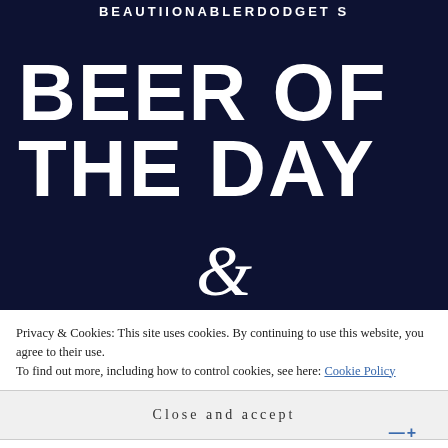BEAUTIIONABLERDODGET S
BEER OF THE DAY
&
Privacy & Cookies: This site uses cookies. By continuing to use this website, you agree to their use. To find out more, including how to control cookies, see here: Cookie Policy
Close and accept